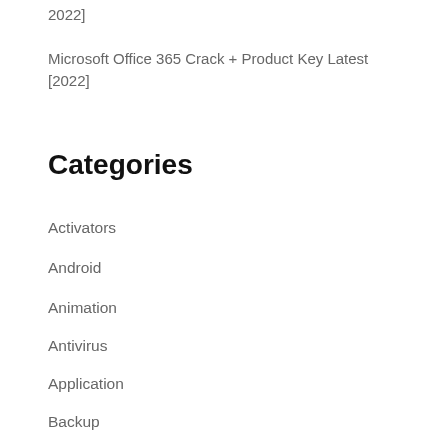2022]
Microsoft Office 365 Crack + Product Key Latest [2022]
Categories
Activators
Android
Animation
Antivirus
Application
Backup
Converters